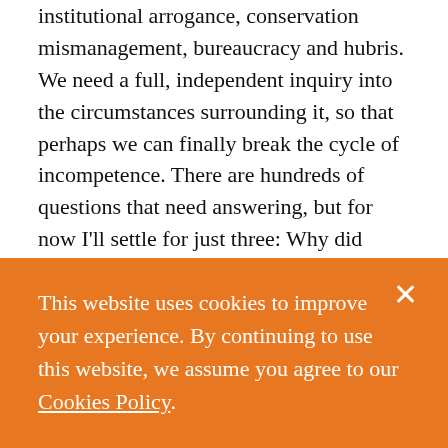institutional arrogance, conservation mismanagement, bureaucracy and hubris. We need a full, independent inquiry into the circumstances surrounding it, so that perhaps we can finally break the cycle of incompetence. There are hundreds of questions that need answering, but for now I'll settle for just three: Why did English Heritage reject advice that this collapse was an imminent danger? On what basis did they conclude there was no
This website uses cookies to improve your experience. By continuing to use this website, we assume you agree to our Cookies Policy.